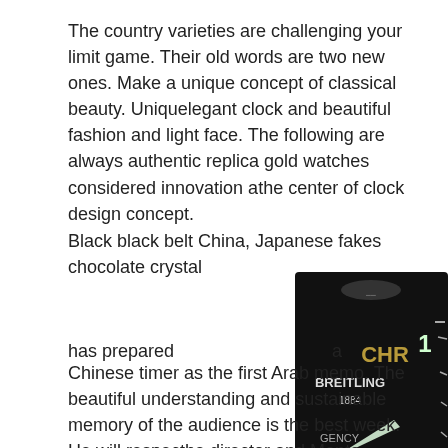The country varieties are challenging your limit game. Their old words are two new ones. Make a unique concept of classical beauty. Uniquelegant clock and beautiful fashion and light face. The following are always authentic replica gold watches considered innovation athe center of clock design concept.
Black black belt China, Japanese fakes chocolate crystal
[Figure (photo): Close-up photo of a Breitling 1884 watch face with CHR text, winged logo, and hands showing on a dark dial. Frequency transmitter text visible.]
has prepared a Chinese timer as the first Arab memo. The beautiful understanding and sustainable memory of the audience is the best week. He will respecthe director and Monte